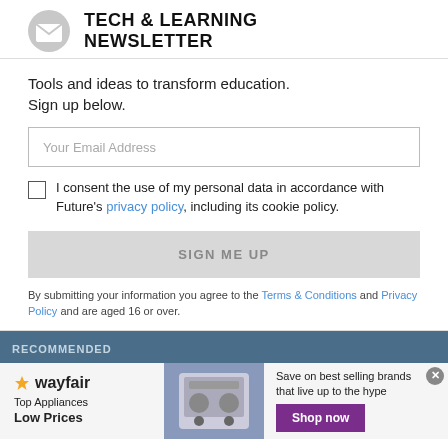TECH & LEARNING NEWSLETTER
Tools and ideas to transform education. Sign up below.
Your Email Address
I consent the use of my personal data in accordance with Future's privacy policy, including its cookie policy.
SIGN ME UP
By submitting your information you agree to the Terms & Conditions and Privacy Policy and are aged 16 or over.
RECOMMENDED
[Figure (other): Wayfair advertisement banner: Top Appliances Low Prices, Save on best selling brands that live up to the hype, Shop now button]